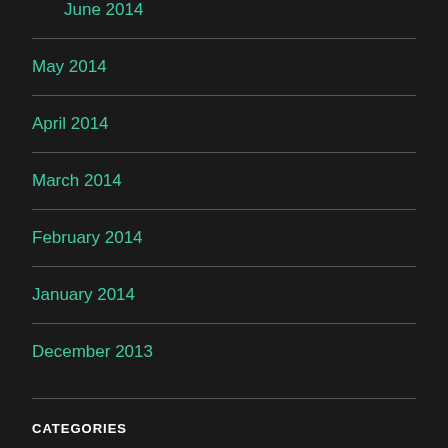June 2014
May 2014
April 2014
March 2014
February 2014
January 2014
December 2013
CATEGORIES